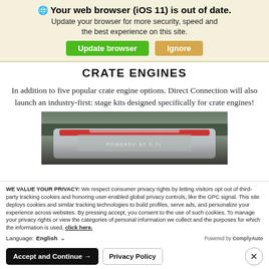🌐 Your web browser (iOS 11) is out of date.
Update your browser for more security, speed and the best experience on this site.
Update browser   Ignore
CRATE ENGINES
In addition to five popular crate engine options. Direct Connection will also launch an industry-first: stage kits designed specifically for crate engines!
[Figure (photo): Rear/top view of a red and silver muscle car with racing stripes, outdoors with trees in background]
WE VALUE YOUR PRIVACY: We respect consumer privacy rights by letting visitors opt out of third-party tracking cookies and honoring user-enabled global privacy controls, like the GPC signal. This site deploys cookies and similar tracking technologies to build profiles, serve ads, and personalize your experience across websites. By pressing accept, you consent to the use of such cookies. To manage your privacy rights or view the categories of personal information we collect and the purposes for which the information is used, click here.
Language: English ∨   Powered by ComplyAuto
Accept and Continue →   Privacy Policy   ×